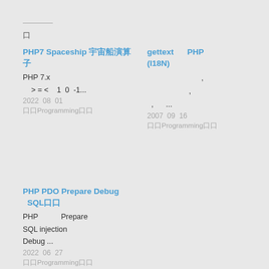口
PHP7 Spaceship 宇宙船演算子
PHP 7.x
> = <    1  0  -1...
2022  08  01
口口Programming口口
gettext      PHP
(I18N)
,
,
,      ...
2007  09  16
口口Programming口口
PHP PDO Prepare Debug
  SQL口口
PHP           Prepare
SQL injection
Debug ...
2022  06  27
口口Programming口口